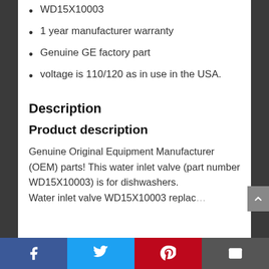WD15X10003
1 year manufacturer warranty
Genuine GE factory part
voltage is 110/120 as in use in the USA.
Description
Product description
Genuine Original Equipment Manufacturer (OEM) parts! This water inlet valve (part number WD15X10003) is for dishwashers. Water inlet valve WD15X10003 replaces